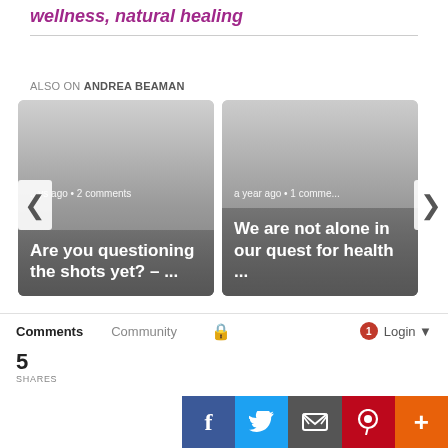wellness, natural healing
ALSO ON ANDREA BEAMAN
[Figure (screenshot): Two article preview cards side by side with navigation arrows. Left card: '...ys ago • 2 comments' meta, title 'Are you questioning the shots yet? – ...'. Right card: 'a year ago • 1 comme...' meta, title 'We are not alone in our quest for health ...']
Comments  Community  🔒  1  Login
5
SHARES